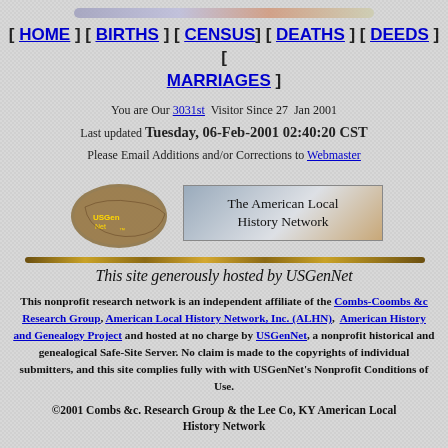[Figure (other): Decorative gradient banner bar at top of page]
[ HOME ] [ BIRTHS ] [ CENSUS ] [ DEATHS ] [ DEEDS ] [ MARRIAGES ]
You are Our 3031st Visitor Since 27 Jan 2001
Last updated Tuesday, 06-Feb-2001 02:40:20 CST
Please Email Additions and/or Corrections to Webmaster
[Figure (logo): USGenNet logo (map of USA) beside The American Local History Network box and rope divider with italic text: This site generously hosted by USGenNet]
This nonprofit research network is an independent affiliate of the Combs-Coombs &c Research Group, American Local History Network, Inc. (ALHN), American History and Genealogy Project and hosted at no charge by USGenNet, a nonprofit historical and genealogical Safe-Site Server. No claim is made to the copyrights of individual submitters, and this site complies fully with with USGenNet's Nonprofit Conditions of Use.
©2001 Combs &c. Research Group & the Lee Co, KY American Local History Network